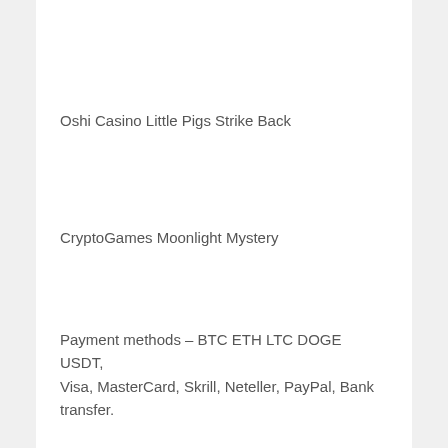Oshi Casino Little Pigs Strike Back
CryptoGames Moonlight Mystery
Payment methods – BTC ETH LTC DOGE USDT, Visa, MasterCard, Skrill, Neteller, PayPal, Bank transfer.
Doubleu casino slots poker, slotty vegas casino no deposit bonus